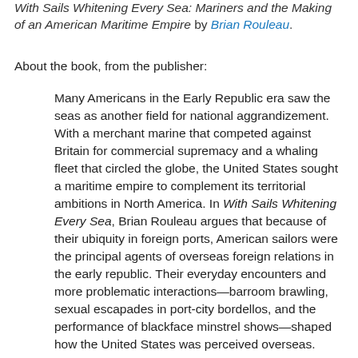With Sails Whitening Every Sea: Mariners and the Making of an American Maritime Empire by Brian Rouleau.
About the book, from the publisher:
Many Americans in the Early Republic era saw the seas as another field for national aggrandizement. With a merchant marine that competed against Britain for commercial supremacy and a whaling fleet that circled the globe, the United States sought a maritime empire to complement its territorial ambitions in North America. In With Sails Whitening Every Sea, Brian Rouleau argues that because of their ubiquity in foreign ports, American sailors were the principal agents of overseas foreign relations in the early republic. Their everyday encounters and more problematic interactions—barroom brawling, sexual escapades in port-city bordellos, and the performance of blackface minstrel shows—shaped how the United States was perceived overseas.